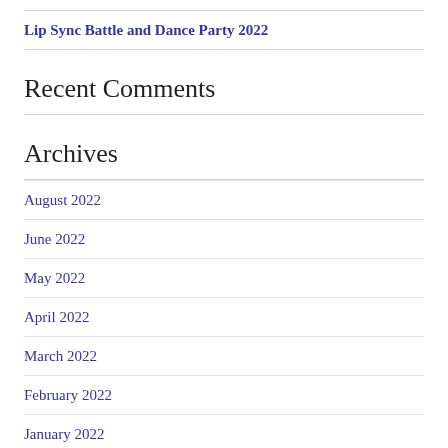Lip Sync Battle and Dance Party 2022
Recent Comments
Archives
August 2022
June 2022
May 2022
April 2022
March 2022
February 2022
January 2022
December 2021